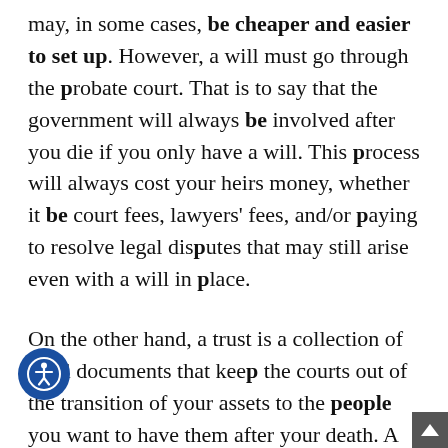may, in some cases, be cheaper and easier to set up. However, a will must go through the probate court. That is to say that the government will always be involved after you die if you only have a will. This process will always cost your heirs money, whether it be court fees, lawyers' fees, and/or paying to resolve legal disputes that may still arise even with a will in place.
On the other hand, a trust is a collection of legal documents that keep the courts out of the transition of your assets to the people you want to have them after your death. A trust also keeps the government out of this transition process. With a will your assets and finances will be public record because everything has to go through the court. If